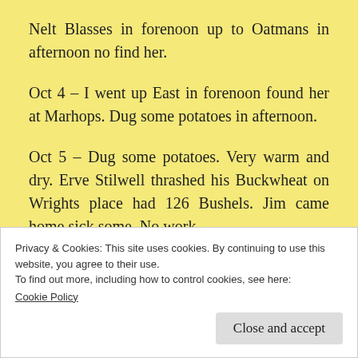Nelt Blasses in forenoon up to Oatmans in afternoon no find her.
Oct 4 – I went up East in forenoon found her at Marhops. Dug some potatoes in afternoon.
Oct 5 – Dug some potatoes. Very warm and dry. Erve Stilwell thrashed his Buckwheat on Wrights place had 126 Bushels. Jim came home sick some. No work.
Privacy & Cookies: This site uses cookies. By continuing to use this website, you agree to their use.
To find out more, including how to control cookies, see here: Cookie Policy
Close and accept